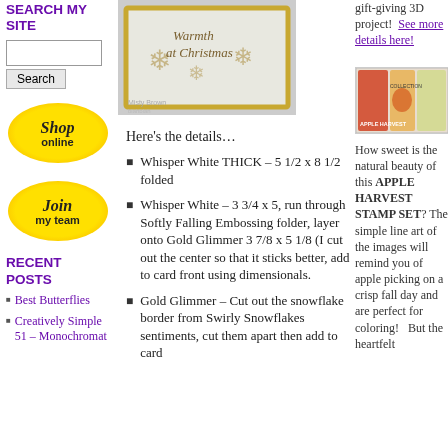[Figure (photo): Christmas card with snowflake design and gold glimmer border, text reads Warmth at Christmas, by Misty Brown]
SEARCH MY SITE
[Figure (illustration): Yellow sunburst badge with Script text Shop Online]
[Figure (illustration): Yellow sunburst badge with Script text Join my team]
RECENT POSTS
Best Butterflies
Creatively Simple 51 – Monochromat
gift-giving 3D project!  See more details here!
Here's the details…
Whisper White THICK – 5 1/2 x 8 1/2 folded
Whisper White – 3 3/4 x 5, run through Softly Falling Embossing folder, layer onto Gold Glimmer 3 7/8 x 5 1/8 (I cut out the center so that it sticks better, add to card front using dimensionals.
Gold Glimmer – Cut out the snowflake border from Swirly Snowflakes sentiments, cut them apart then add to card
[Figure (photo): Apple Harvest Collection product image with red and green packaging]
How sweet is the natural beauty of this APPLE HARVEST STAMP SET? The simple line art of the images will remind you of apple picking on a crisp fall day and are perfect for coloring!   But the heartfelt